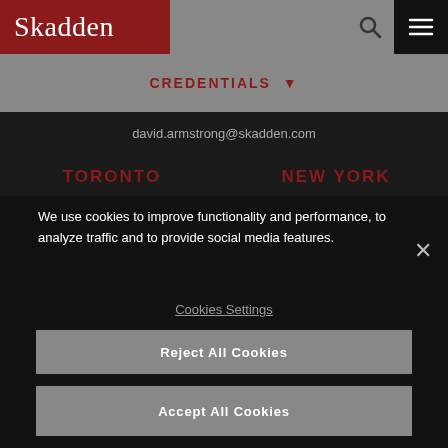[Figure (screenshot): Skadden law firm website header with logo on dark red background, navigation icons for search and menu]
CREDENTIALS ▾
david.armstrong@skadden.com
TORONTO
NEW YORK
We use cookies to improve functionality and performance, to analyze traffic and to provide social media features.
Cookies Settings
Reject All Cookies
Accept All Cookies